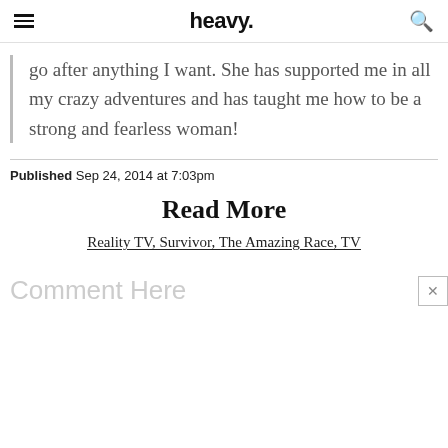heavy.
go after anything I want. She has supported me in all my crazy adventures and has taught me how to be a strong and fearless woman!
Published Sep 24, 2014 at 7:03pm
Read More
Reality TV, Survivor, The Amazing Race, TV
Comment Here